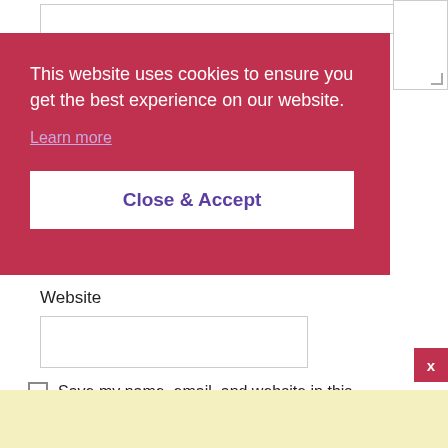This website uses cookies to ensure you get the best experience on our website.
Learn more
Close & Accept
Website
Save my name, email, and website in this browser for the next time I comment.